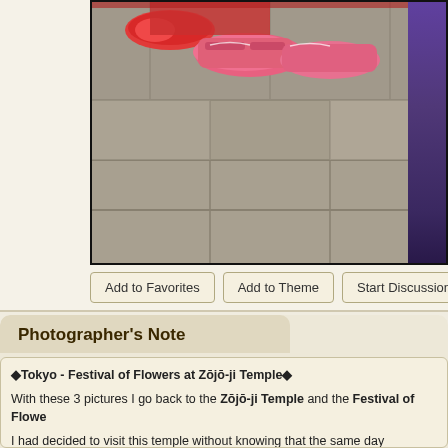[Figure (photo): Photo showing children's pink sneakers and feet on stone pavement, with a purple garment visible on the right edge]
Add to Favorites | Add to Theme | Start Discussion | Po...
Photographer's Note
◆Tokyo - Festival of Flowers at Zōjō-ji Temple◆

With these 3 pictures I go back to the Zōjō-ji Temple and the Festival of Flowe...

I had decided to visit this temple without knowing that the same day something ... All the attendees in the temple and in its garden were very busy and all attentio... colourful attire.

Later Takero explained me that Buddha's birth was celebrated and on that occ... the ◆ana Matsuri◆ or 'Festival of Flowers'